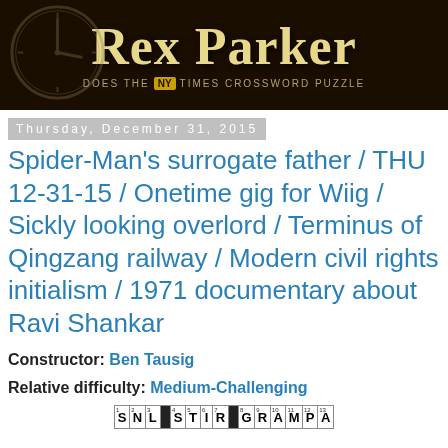[Figure (logo): Rex Parker blog banner with dark brown background, large cream/gold serif text 'Rex Parker', and subtitle 'DOES THE NY TIMES CROSSWORD PUZZLE' with NY in a gold badge]
Thursday, December 31, 2015
Spider-Man's surrogate father / THU 12-31-15 / Onetime gig for Wiig / Sickly looking overlord / Terminus of Qingzang railway / Modern civil rights initialism / 1971 documentary about Ravi Shankar
Constructor: Ben Tausig
Relative difficulty: Medium-Challenging
[Figure (other): Partial crossword puzzle grid showing top row with letters S, N, L, (black), S, T, I, R, (black), G, R, A, M, P, A]